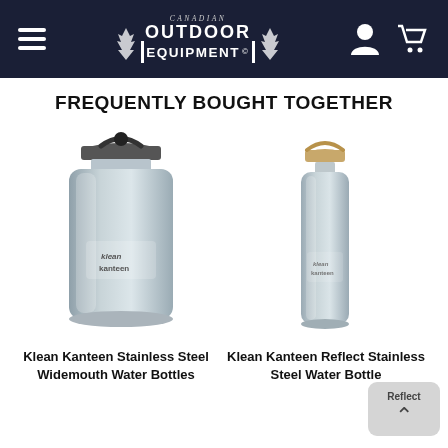Canadian Outdoor Equipment - navigation header with hamburger menu, logo, user icon, cart icon
FREQUENTLY BOUGHT TOGETHER
[Figure (photo): Klean Kanteen Stainless Steel Widemouth Water Bottle - wide silver stainless steel bottle with black loop cap]
Klean Kanteen Stainless Steel Widemouth Water Bottles
[Figure (photo): Klean Kanteen Reflect Stainless Steel Water Bottle - slim silver stainless steel bottle with bamboo loop cap]
Klean Kanteen Reflect Stainless Steel Water Bottle